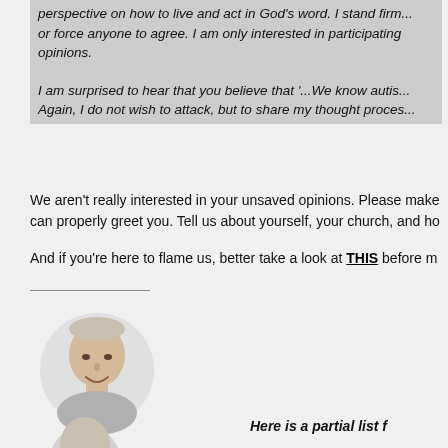perspective on how to live and act in God's word. I stand firm... or force anyone to agree. I am only interested in participating opinions.
I am surprised to hear that you believe that '...We know autis... Again, I do not wish to attack, but to share my thought proces...
We aren't really interested in your unsaved opinions. Please make can properly greet you. Tell us about yourself, your church, and ho
And if you're here to flame us, better take a look at THIS before m
[Figure (photo): Avatar photo of a person with short hair, smiling]
[Figure (photo): Partial avatar photo at bottom of page]
Here is a partial list f